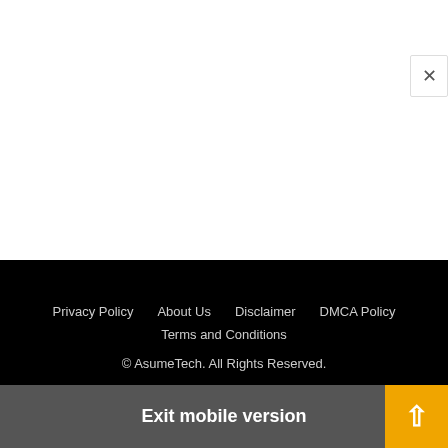Privacy Policy   About Us   Disclaimer   DMCA Policy   Terms and Conditions   © AsumeTech. All Rights Reserved.
Exit mobile version